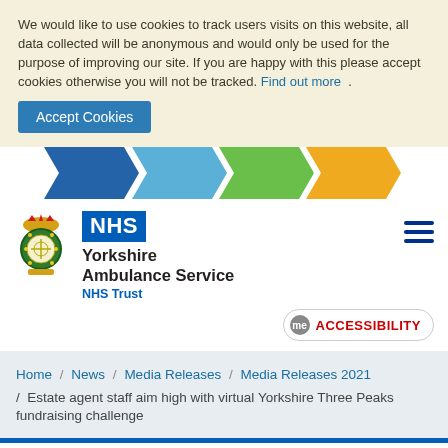We would like to use cookies to track users visits on this website, all data collected will be anonymous and would only be used for the purpose of improving our site. If you are happy with this please accept cookies otherwise you will not be tracked. Find out more .
[Figure (infographic): Cookie banner accept button and colored chevron/shield strip (blue, light blue, green, yellow/orange)]
[Figure (logo): NHS Yorkshire Ambulance Service NHS Trust logo with crest and hamburger menu icon]
[Figure (infographic): Accessibility button with 'me' bubble and red ACCESSIBILITY text]
Home / News / Media Releases / Media Releases 2021 / Estate agent staff aim high with virtual Yorkshire Three Peaks fundraising challenge